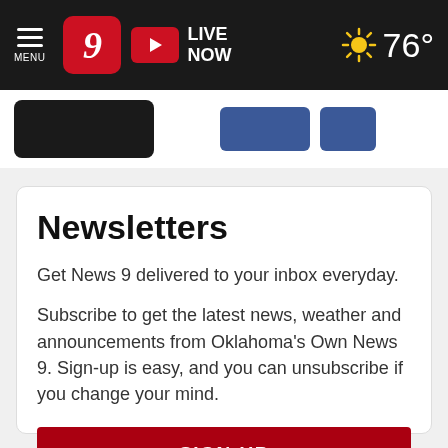MENU | News 9 | LIVE NOW | 76°
[Figure (screenshot): Partial view of app download and social media buttons strip below the header]
Newsletters
Get News 9 delivered to your inbox everyday.
Subscribe to get the latest news, weather and announcements from Oklahoma's Own News 9. Sign-up is easy, and you can unsubscribe if you change your mind.
SIGN-UP